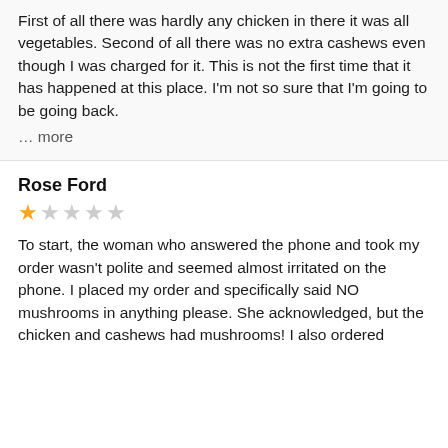First of all there was hardly any chicken in there it was all vegetables. Second of all there was no extra cashews even though I was charged for it. This is not the first time that it has happened at this place. I'm not so sure that I'm going to be going back.
… more
Rose Ford
[Figure (other): 1 out of 5 stars rating: one filled orange star followed by four empty gray stars]
To start, the woman who answered the phone and took my order wasn't polite and seemed almost irritated on the phone. I placed my order and specifically said NO mushrooms in anything please. She acknowledged, but the chicken and cashews had mushrooms! I also ordered